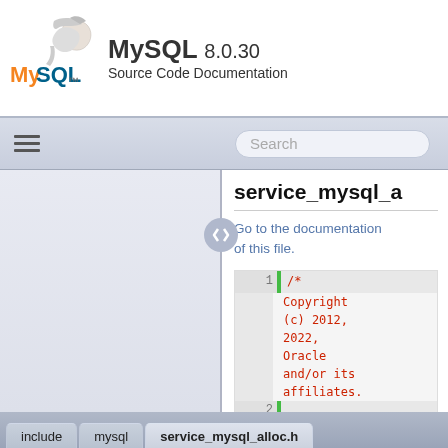MySQL 8.0.30 Source Code Documentation
[Figure (screenshot): MySQL dolphin logo with 'MySQL' text in orange and blue]
service_mysql_a
Go to the documentation of this file.
1  /* Copyright (c) 2012, 2022, Oracle and/or its affiliates.
2
3       This program is free software; you can redistribute it and/or modify
include › mysql › service_mysql_alloc.h